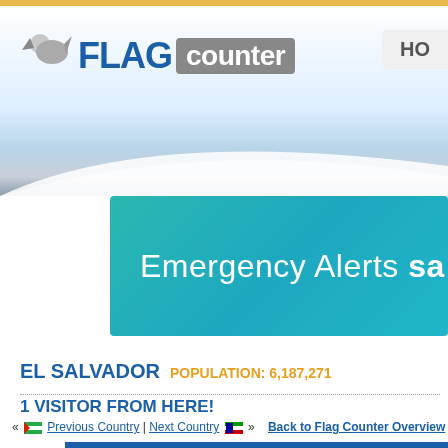[Figure (logo): Flag Counter logo with bird icon, FLAG in blue bold, counter in gray box white text]
[Figure (illustration): Teal/cyan banner with text 'Emergency Alerts sa...' (truncated)]
EL SALVADOR POPULATION: 6,187,271
1 VISITOR FROM HERE!
« Previous Country | Next Country » Back to Flag Counter Overview
History